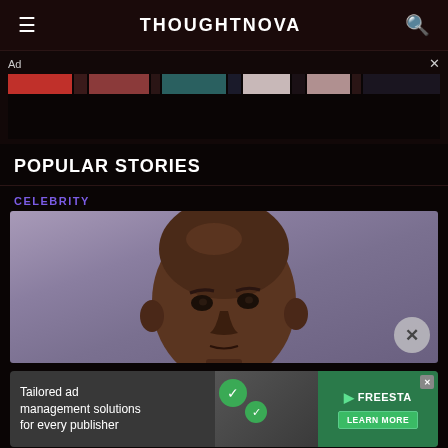THOUGHTNOVA
[Figure (other): Ad strip banner with colorful image thumbnails]
POPULAR STORIES
CELEBRITY
[Figure (photo): Close-up photo of a bald Black man against a purple-grey background]
[Figure (other): Advertisement: Tailored ad management solutions for every publisher — FreeStA Learn More]